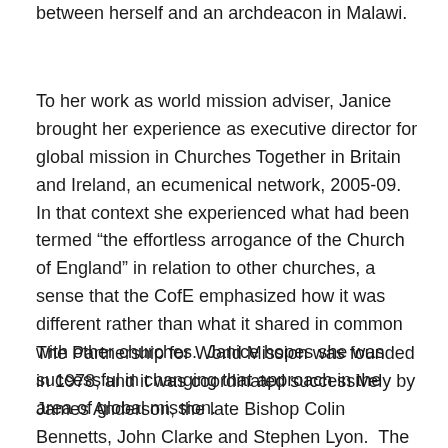between herself and an archdeacon in Malawi.
To her work as world mission adviser, Janice brought her experience as executive director for global mission in Churches Together in Britain and Ireland, an ecumenical network, 2005-09.  In that context she experienced what had been termed “the effortless arrogance of the Church of England” in relation to other churches, a sense that the CofE emphasized how it was different rather than what it shared in common with other churches.  Janice hopes she was successful in changing that approach in the area of global mission.
The Partnership for World Mission was founded in 1978, and it was coordinated successively by James Anderson, the late Bishop Colin Bennetts, John Clarke and Stephen Lyon.  The role was expanded beyond PWM to advising